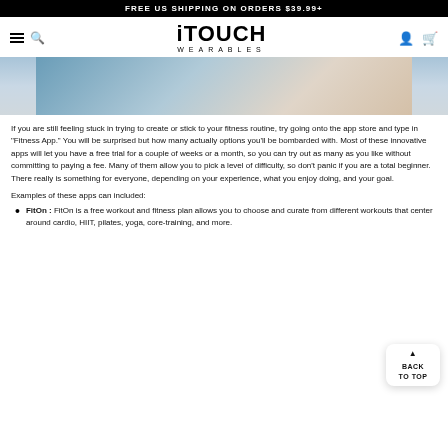FREE US SHIPPING ON ORDERS $39.99+
[Figure (logo): iTouch Wearables logo with hamburger menu, search icon, user icon and cart icon]
[Figure (photo): Partial hero image showing a hand/wrist with a wearable device]
If you are still feeling stuck in trying to create or stick to your fitness routine, try going onto the app store and type in "Fitness App." You will be surprised but how many actually options you'll be bombarded with. Most of these innovative apps will let you have a free trial for a couple of weeks or a month, so you can try out as many as you like without committing to paying a fee. Many of them allow you to pick a level of difficulty, so don't panic if you are a total beginner. There really is something for everyone, depending on your experience, what you enjoy doing, and your goal.
Examples of these apps can included:
FitOn : FitOn is a free workout and fitness plan allows you to choose and curate from different workouts that center around cardio, HIIT, pilates, yoga, core-training, and more.